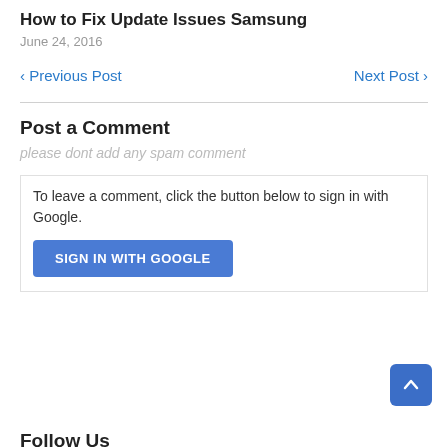How to Fix Update Issues Samsung
June 24, 2016
‹ Previous Post
Next Post ›
Post a Comment
please dont add any spam comment
To leave a comment, click the button below to sign in with Google.
SIGN IN WITH GOOGLE
Follow Us